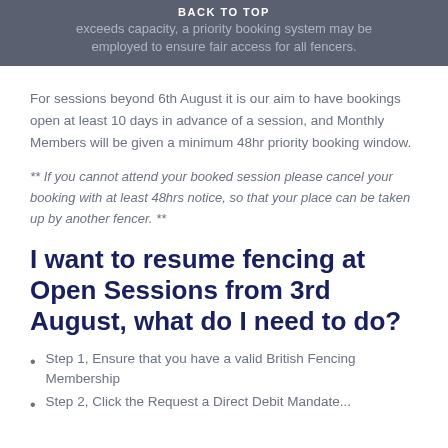BACK TO TOP
exceeds capacity, a priority booking system may be employed to ensure fair access for all fencers.
For sessions beyond 6th August it is our aim to have bookings open at least 10 days in advance of a session, and Monthly Members will be given a minimum 48hr priority booking window.
** If you cannot attend your booked session please cancel your booking with at least 48hrs notice, so that your place can be taken up by another fencer. **
I want to resume fencing at Open Sessions from 3rd August, what do I need to do?
Step 1, Ensure that you have a valid British Fencing Membership
Step 2, Click the Request a Direct Debit Mandate...